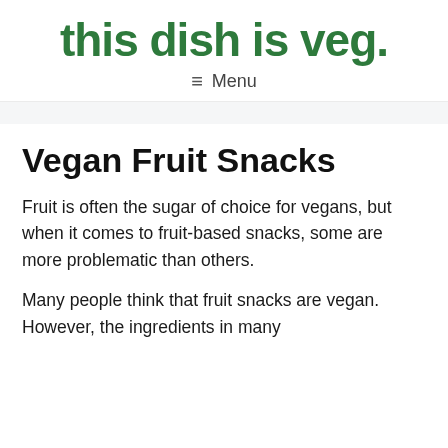this dish is veg.
≡ Menu
Vegan Fruit Snacks
Fruit is often the sugar of choice for vegans, but when it comes to fruit-based snacks, some are more problematic than others.
Many people think that fruit snacks are vegan. However, the ingredients in many